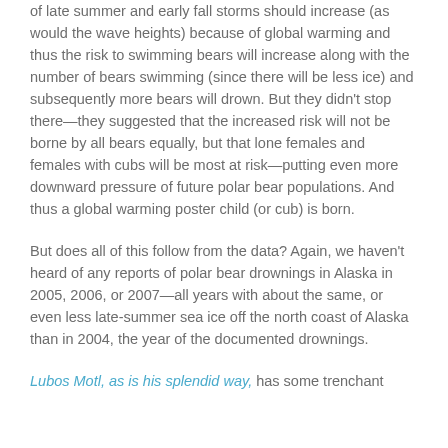of late summer and early fall storms should increase (as would the wave heights) because of global warming and thus the risk to swimming bears will increase along with the number of bears swimming (since there will be less ice) and subsequently more bears will drown. But they didn't stop there—they suggested that the increased risk will not be borne by all bears equally, but that lone females and females with cubs will be most at risk—putting even more downward pressure of future polar bear populations. And thus a global warming poster child (or cub) is born.
But does all of this follow from the data? Again, we haven't heard of any reports of polar bear drownings in Alaska in 2005, 2006, or 2007—all years with about the same, or even less late-summer sea ice off the north coast of Alaska than in 2004, the year of the documented drownings.
Lubos Motl, as is his splendid way, has some trenchant